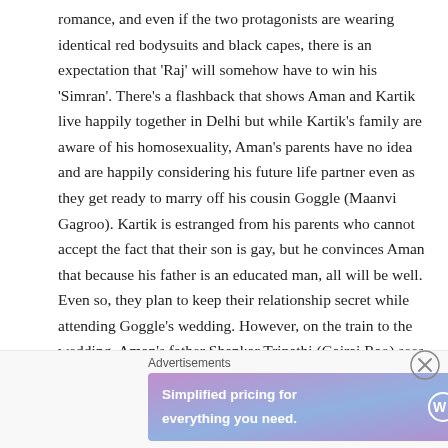romance, and even if the two protagonists are wearing identical red bodysuits and black capes, there is an expectation that 'Raj' will somehow have to win his 'Simran'. There's a flashback that shows Aman and Kartik live happily together in Delhi but while Kartik's family are aware of his homosexuality, Aman's parents have no idea and are happily considering his future life partner even as they get ready to marry off his cousin Goggle (Maanvi Gagroo). Kartik is estranged from his parents who cannot accept the fact that their son is gay, but he convinces Aman that because his father is an educated man, all will be well. Even so, they plan to keep their relationship secret while attending Goggle's wedding. However, on the train to the wedding, Aman's father Shankar Tripathi (Gajraj Rao) sees Aman and Kartik locked together in a kiss and the cat is well and truly out of the bag.
Advertisements
[Figure (other): WordPress.com advertisement banner with gradient purple-blue background. Text reads 'Simplified pricing for everything you need.' with WordPress.com logo on the right.]